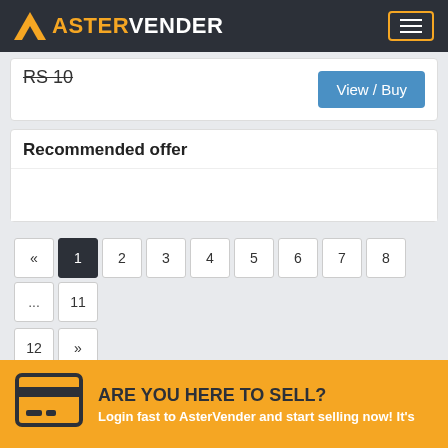AV ASTERVENDER
RS 10
View / Buy
Recommended offer
« 1 2 3 4 5 6 7 8 ... 11 12 »
ARE YOU HERE TO SELL? Login fast to AsterVender and start selling now! It's